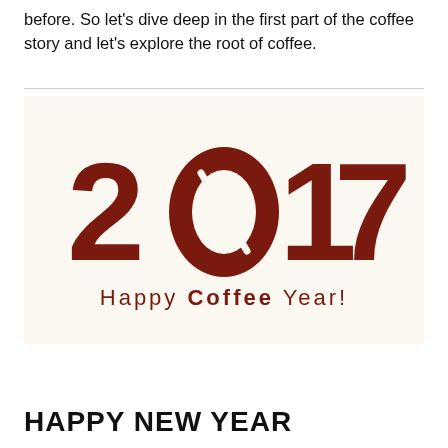before. So let's dive deep in the first part of the coffee story and let's explore the root of coffee.
[Figure (illustration): Decorative graphic showing '2017' where the zero is replaced by a coffee bean shape, with the text 'Happy Coffee Year!' below, on a cream/off-white background.]
HAPPY NEW YEAR